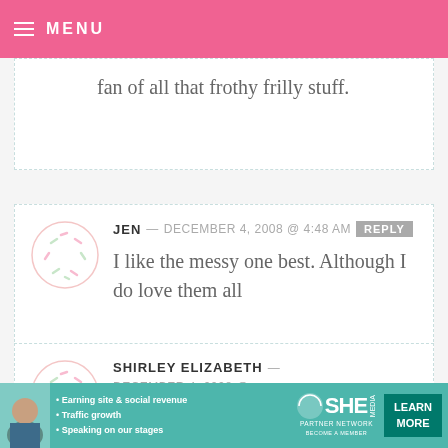MENU
fan of all that frothy frilly stuff.
JEN — DECEMBER 4, 2008 @ 4:48 AM REPLY
I like the messy one best. Although I do love them all
SHIRLEY ELIZABETH — DECEMBER 4, 2008 @ 4:47 AM REPLY
SO. The sassy one is fun to make, the
[Figure (infographic): SHE Partner Network advertisement banner with teal background showing a woman and bullet points about Earning site & social revenue, Traffic growth, Speaking on our stages, with LEARN MORE button]